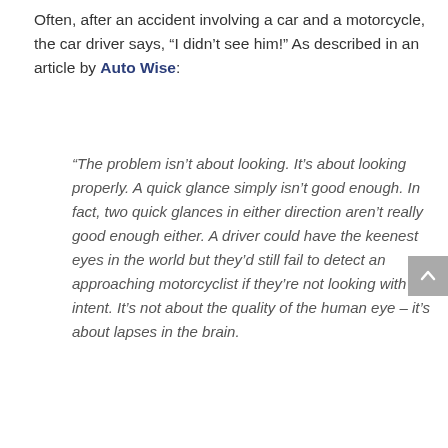Often, after an accident involving a car and a motorcycle, the car driver says, “I didn’t see him!” As described in an article by Auto Wise:
“The problem isn’t about looking. It’s about looking properly. A quick glance simply isn’t good enough. In fact, two quick glances in either direction aren’t really good enough either. A driver could have the keenest eyes in the world but they’d still fail to detect an approaching motorcyclist if they’re not looking with intent. It’s not about the quality of the human eye – it’s about lapses in the brain.